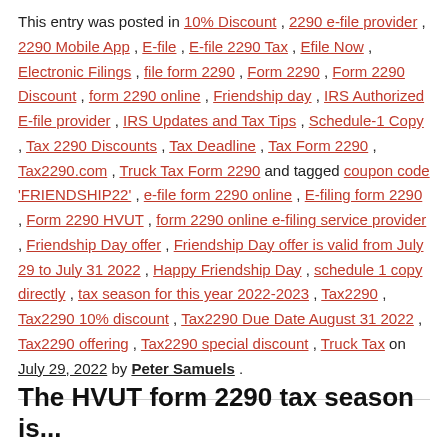This entry was posted in 10% Discount , 2290 e-file provider , 2290 Mobile App , E-file , E-file 2290 Tax , Efile Now , Electronic Filings , file form 2290 , Form 2290 , Form 2290 Discount , form 2290 online , Friendship day , IRS Authorized E-file provider , IRS Updates and Tax Tips , Schedule-1 Copy , Tax 2290 Discounts , Tax Deadline , Tax Form 2290 , Tax2290.com , Truck Tax Form 2290 and tagged coupon code 'FRIENDSHIP22' , e-file form 2290 online , E-filing form 2290 , Form 2290 HVUT , form 2290 online e-filing service provider , Friendship Day offer , Friendship Day offer is valid from July 29 to July 31 2022 , Happy Friendship Day , schedule 1 copy directly , tax season for this year 2022-2023 , Tax2290 , Tax2290 10% discount , Tax2290 Due Date August 31 2022 , Tax2290 offering , Tax2290 special discount , Truck Tax on July 29, 2022 by Peter Samuels .
The HVUT form 2290 tax season is...